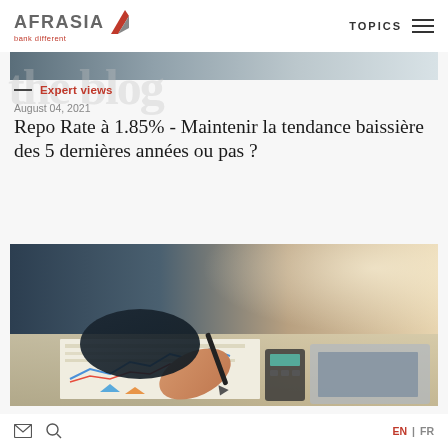AfrAsia bank different | TOPICS
[Figure (photo): Partial top strip of a photo showing financial charts and documents]
the blog
— Expert views
August 04, 2021
Repo Rate à 1.85% - Maintenir la tendance baissière des 5 dernières années ou pas ?
[Figure (photo): Close-up photo of a hand holding a pen over financial charts/documents, with a calculator and laptop in the background]
EN | FR